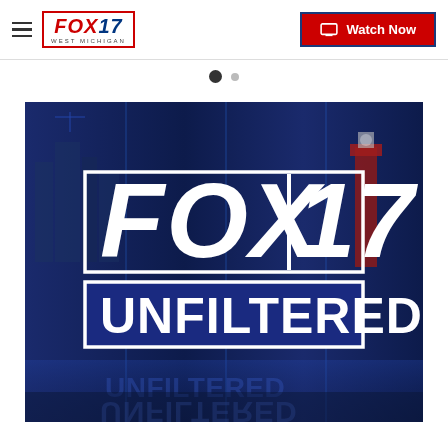FOX 17 WEST MICHIGAN | Watch Now
[Figure (screenshot): FOX 17 Unfiltered logo on dark blue background with city skyline and lighthouse. Large text reads FOX 17 in white with UNFILTERED in a white box below.]